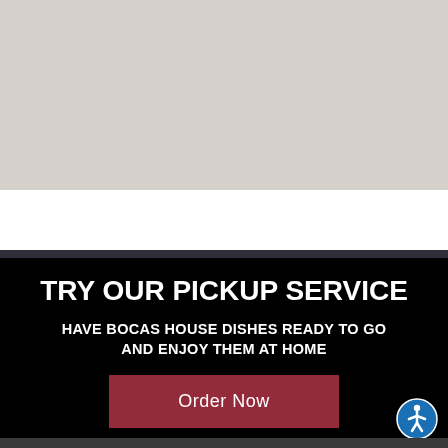[Figure (map): Gray map background area showing a street map in muted gray/beige tones]
TRY OUR PICKUP SERVICE
HAVE BOCAS HOUSE DISHES READY TO GO AND ENJOY THEM AT HOME
Order Now